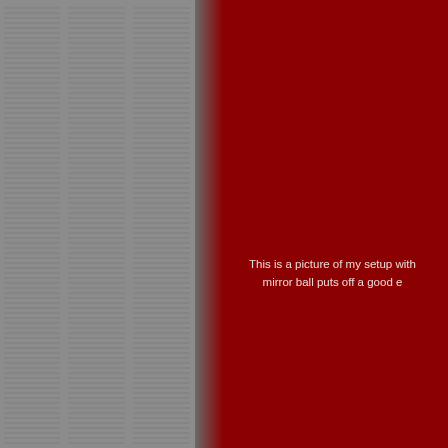[Figure (photo): Left half shows a gray textured panel with horizontal line pattern resembling lined notebook paper or corrugated material. Right half shows a dark red/maroon background panel. A shadow strip separates the two panels.]
This is a picture of my setup with mirror ball puts off a good e